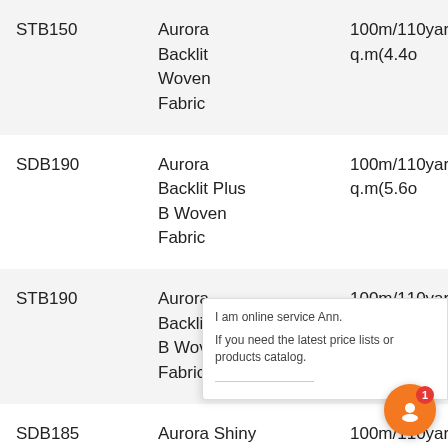| Code | Product Name | Specification |
| --- | --- | --- |
| STB150 | Aurora
Backlit
Woven
Fabric | 100m/110yards,150g/sq.m(4.4o... |
| SDB190 | Aurora
Backlit Plus
B Woven
Fabric | 100m/110yards,190g/sq.m(5.6o... |
| STB190 | Aurora
Backlit Plus
B Woven
Fabric | 100m/110yards,190g/sq.m(5.6o... |
| SDB185 | Aurora Shiny
Backlit
Woven
Fabric | 100m/110yards,185g/sq.m(5.5o... |